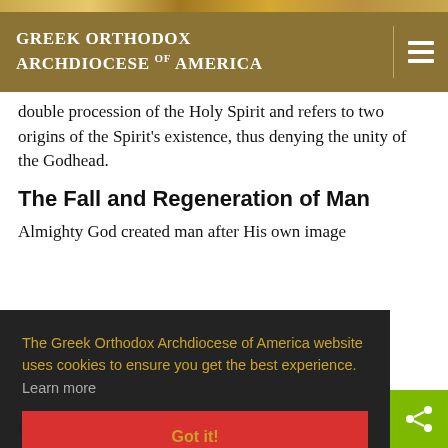[Figure (logo): Greek Orthodox Archdiocese of America website header with decorative gold border, gold/brown background, white text logo and hamburger menu icon]
double procession of the Holy Spirit and refers to two origins of the Spirit's existence, thus denying the unity of the Godhead.
The Fall and Regeneration of Man
Almighty God created man after His own image
The Greek Orthodox Archdiocese of America website uses cookies to ensure you get the best experience. Learn more
Got it!
together until now" (Romans 8:22). The